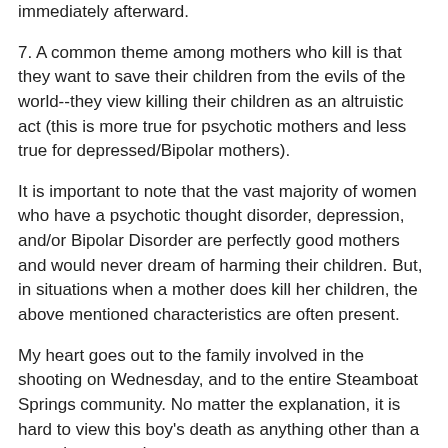immediately afterward.
7. A common theme among mothers who kill is that they want to save their children from the evils of the world--they view killing their children as an altruistic act (this is more true for psychotic mothers and less true for depressed/Bipolar mothers).
It is important to note that the vast majority of women who have a psychotic thought disorder, depression, and/or Bipolar Disorder are perfectly good mothers and would never dream of harming their children. But, in situations when a mother does kill her children, the above mentioned characteristics are often present.
My heart goes out to the family involved in the shooting on Wednesday, and to the entire Steamboat Springs community. No matter the explanation, it is hard to view this boy's death as anything other than a senseless tragedy.
Thanks for reading-- Max Wachtel, Ph.D.
www.CherryCreekPsychology.com